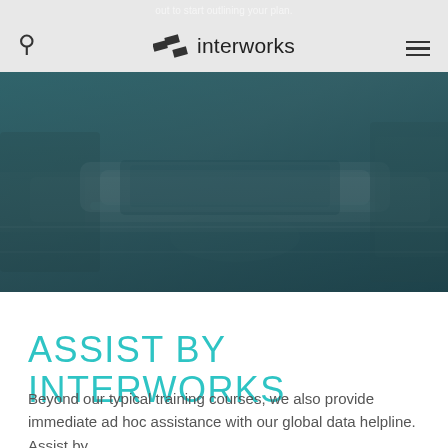out to start outlining your plan.
[Figure (screenshot): InterWorks website navigation bar with search icon on left, InterWorks logo in center (consisting of two parallelogram shapes and the word 'interworks'), and hamburger menu icon on right, on a light gray background.]
[Figure (photo): Hero image showing a close-up of a classroom or workspace environment with desks/chairs, overlaid with a dark teal/blue-green tint.]
ASSIST BY INTERWORKS
Beyond our typical training courses, we also provide immediate ad hoc assistance with our global data helpline. Assist by...